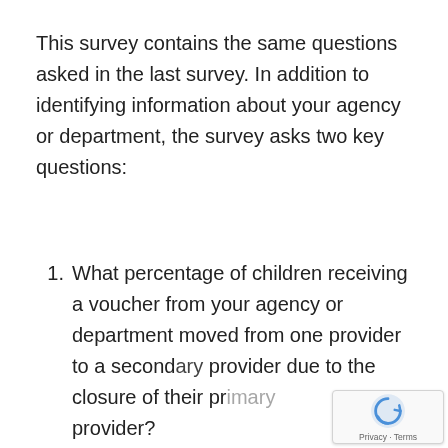This survey contains the same questions asked in the last survey. In addition to identifying information about your agency or department, the survey asks two key questions:
1. What percentage of children receiving a voucher from your agency or department moved from one provider to a secondary provider due to the closure of their primary provider?